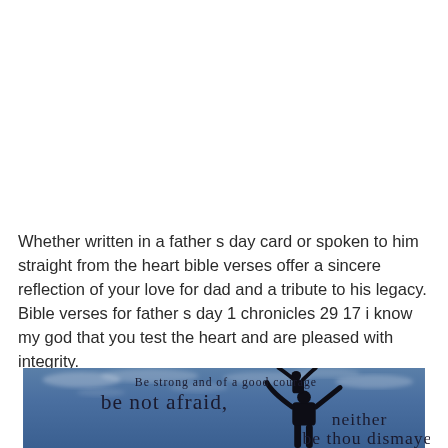Whether written in a father s day card or spoken to him straight from the heart bible verses offer a sincere reflection of your love for dad and a tribute to his legacy. Bible verses for father s day 1 chronicles 29 17 i know my god that you test the heart and are pleased with integrity.
[Figure (photo): Blue sky with wispy clouds background, silhouette of an adult lifting a child in the air. Overlaid text reads: 'Be strong and of a good courage' (small), 'be not afraid,' (large), 'neither' (medium), 'be thou dismayed' (medium).]